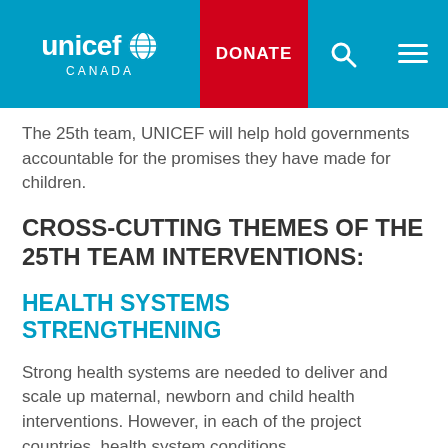[Figure (screenshot): UNICEF Canada website navigation bar with logo, DONATE button in red, search icon, and hamburger menu icon on a teal/blue background]
The 25th team, UNICEF will help hold governments accountable for the promises they have made for children.
CROSS-CUTTING THEMES OF THE 25TH TEAM INTERVENTIONS:
HEALTH SYSTEMS STRENGTHENING
Strong health systems are needed to deliver and scale up maternal, newborn and child health interventions. However, in each of the project countries, health system conditions